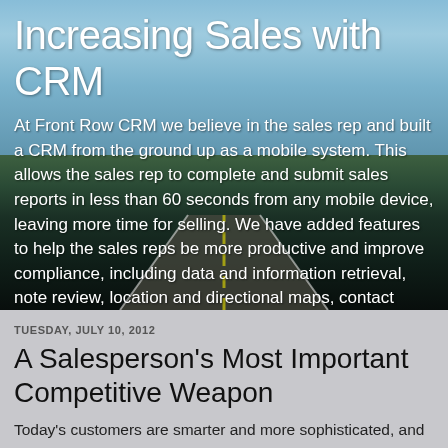[Figure (photo): Background photo of a road stretching into the distance with a blue sky and trees on the sides, used as the hero banner background.]
Increasing Sales with CRM
At Front Row CRM we believe in the sales rep and built a CRM from the ground up as a mobile system. This allows the sales rep to complete and submit sales reports in less than 60 seconds from any mobile device, leaving more time for selling. We have added features to help the sales reps be more productive and improve compliance, including data and information retrieval, note review, location and directional maps, contact information, camera integration, sync with Outlook or Google PIM and more.
TUESDAY, JULY 10, 2012
A Salesperson's Most Important Competitive Weapon
Today's customers are smarter and more sophisticated, and